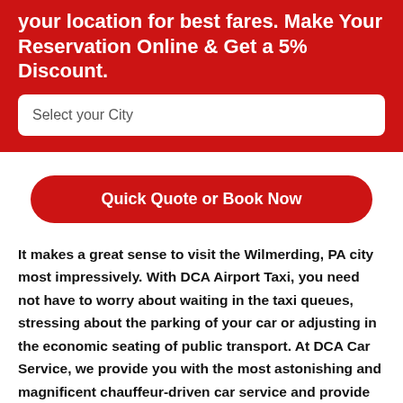your location for best fares. Make Your Reservation Online & Get a 5% Discount.
Select your City
Quick Quote or Book Now
It makes a great sense to visit the Wilmerding, PA city most impressively. With DCA Airport Taxi, you need not have to worry about waiting in the taxi queues, stressing about the parking of your car or adjusting in the economic seating of public transport. At DCA Car Service, we provide you with the most astonishing and magnificent chauffeur-driven car service and provide you with the